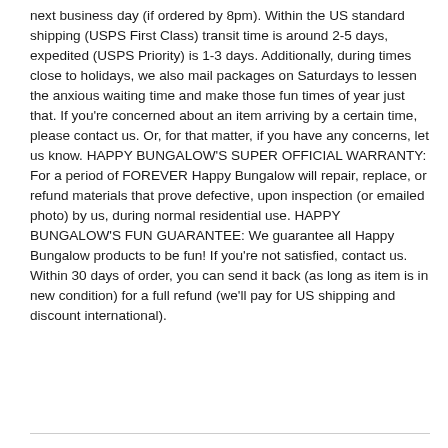next business day (if ordered by 8pm). Within the US standard shipping (USPS First Class) transit time is around 2-5 days, expedited (USPS Priority) is 1-3 days. Additionally, during times close to holidays, we also mail packages on Saturdays to lessen the anxious waiting time and make those fun times of year just that. If you're concerned about an item arriving by a certain time, please contact us. Or, for that matter, if you have any concerns, let us know. HAPPY BUNGALOW'S SUPER OFFICIAL WARRANTY: For a period of FOREVER Happy Bungalow will repair, replace, or refund materials that prove defective, upon inspection (or emailed photo) by us, during normal residential use. HAPPY BUNGALOW'S FUN GUARANTEE: We guarantee all Happy Bungalow products to be fun! If you're not satisfied, contact us. Within 30 days of order, you can send it back (as long as item is in new condition) for a full refund (we'll pay for US shipping and discount international).